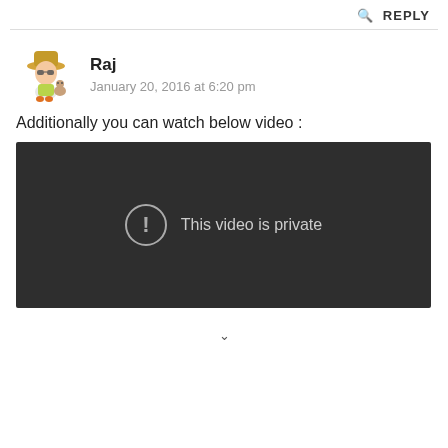🔍 REPLY
Raj
January 20, 2016 at 6:20 pm
Additionally you can watch below video :
[Figure (screenshot): Embedded video player showing 'This video is private' message with an exclamation icon on a dark background]
∨